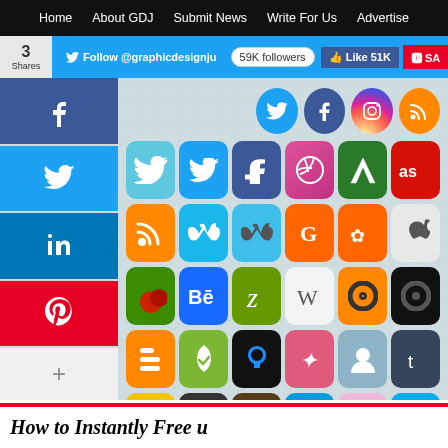Home | About GDJ | Submit News | Write For Us | Advertise
[Figure (screenshot): Social media toolbar with Twitter follow button showing 59K followers, Facebook Like 51K, and Pinterest Save buttons]
[Figure (infographic): Grid of social media icon buttons including Twitter, Facebook, RSS, Vimeo, Goodreads, Behance, Zotero, Wikipedia, Blogger, Evernote, Tumblr, Skype, and many others arranged in rows on a light blue textured background]
[Figure (infographic): Sidebar with share count (3 Shares) and social share buttons: Facebook (blue), Twitter (light blue), LinkedIn (dark blue), Pinterest (red), and more (+)]